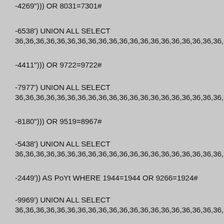-4269"))) OR 8031=7301#
-6538') UNION ALL SELECT 36,36,36,36,36,36,36,36,36,36,36,36,36,36,36,36,36,36,36,36,CON
-4411"))) OR 9722=9722#
-7977') UNION ALL SELECT 36,36,36,36,36,36,36,36,36,36,36,36,36,36,36,36,36,36,36,36,36,36,36,36,36,36,36,36
-8180"))) OR 9519=8967#
-5438') UNION ALL SELECT 36,36,36,36,36,36,36,36,36,36,36,36,36,36,36,36,36,36,36,36,36,36,36,36,36,36,36,36
-2449')) AS PoYt WHERE 1944=1944 OR 9266=1924#
-9969') UNION ALL SELECT 36,36,36,36,36,36,36,36,36,36,36,36,36,36,36,36,36,36,36,36,36,36,36,36,36,36,36,36
-7117')) AS XHQl WHERE 5735=5735 OR 9722=9722#
Hello Members, I wonder how to reach the consciousness of the Ru... RUSSIAN SOLDIERS DIE and military equipment is being destroyed... build and create a new, better world. WAR is suffering, crying, sadne... that Vladimir Putin should retire, bask in the sun somewhere in warm... idea to select random companies from Russia on Google business...